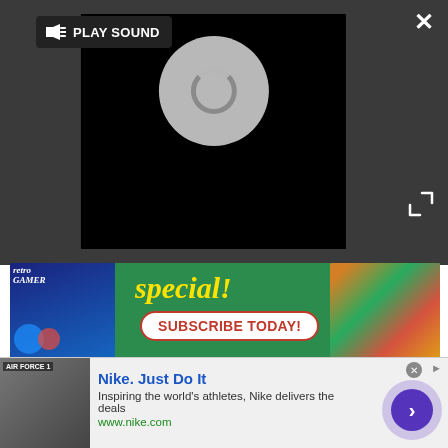[Figure (screenshot): Video player with dark grey background, black video area showing a spinning loading circle, a 'PLAY SOUND' button with speaker icon in top left, a close X button top right, and expand arrows bottom right.]
[Figure (screenshot): Advertisement banner for Retro Gamer magazine showing 'special!' text in yellow italic, a 'SUBSCRIBE TODAY!' button in red, magazine cover with Sonic characters on the left, and school stationery/pencils on the right, all on a green background.]
One further connectivity addition comes in the guise of the 6650 as a USB modem. Just plug it into a compatible PC and you'll be able to benefit from mobile broadband over T-Mobile's network. Nokia's PC Suite software comes bundled with the handset.
[Figure (screenshot): Nike advertisement banner at bottom: thumbnail image on left, 'Nike. Just Do It' title in blue, description 'Inspiring the world's athletes, Nike delivers the deals', green URL 'www.nike.com', and a purple circular arrow button on the right.]